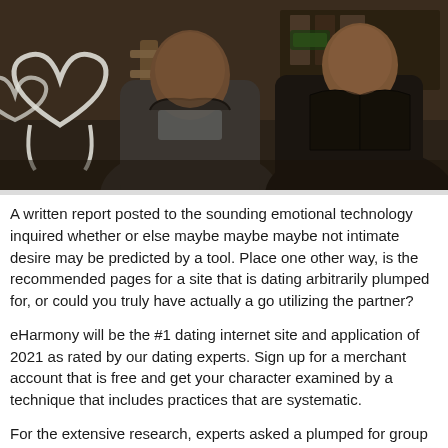[Figure (photo): Photograph of two men sitting together in what appears to be a cafe or bar setting, both wearing dark jackets, with decorative items visible in the background including white heart-shaped decor.]
A written report posted to the sounding emotional technology inquired whether or else maybe maybe maybe not intimate desire may be predicted by a tool. Place one other way, is the recommended pages for a site that is dating arbitrarily plumped for, or could you truly have actually a go utilizing the partner?
eHarmony will be the #1 dating internet site and application of 2021 as rated by our dating experts. Sign up for a merchant account that is free and get your character examined by a technique that includes practices that are systematic.
For the extensive research, experts asked a plumped for group of speed-daters with regards to the faculties and alternatives they look for of their fans. The questionnaire have been made by an algorithm that is advanced level